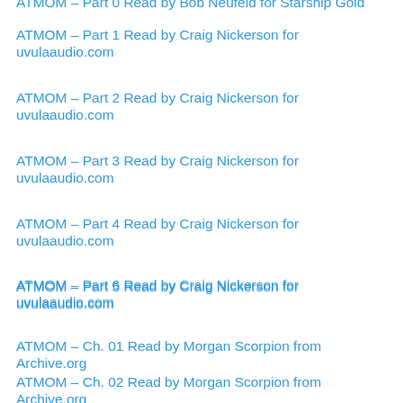ATMOM – Part 0 Read by Bob Neufeld for Starship Gold
ATMOM – Part 1 Read by Craig Nickerson for uvulaaudio.com
ATMOM – Part 2 Read by Craig Nickerson for uvulaaudio.com
ATMOM – Part 3 Read by Craig Nickerson for uvulaaudio.com
ATMOM – Part 4 Read by Craig Nickerson for uvulaaudio.com
ATMOM – Part 5 Read by Craig Nickerson for uvulaaudio.com
ATMOM – Part 6 Read by Craig Nickerson for uvulaaudio.com
ATMOM – Ch. 01 Read by Morgan Scorpion from Archive.org
ATMOM – Ch. 02 Read by Morgan Scorpion from Archive.org